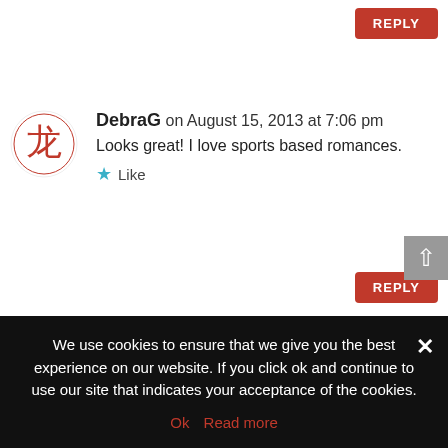REPLY (top button)
DebraG on August 15, 2013 at 7:06 pm
Looks great! I love sports based romances.
Like
REPLY (mid button)
Kassandra on August 15, 2013 at 7:51 pm
Thank you for the chance!

Kassandra
We use cookies to ensure that we give you the best experience on our website. If you click ok and continue to use our site that indicates your acceptance of the cookies.
Ok   Read more